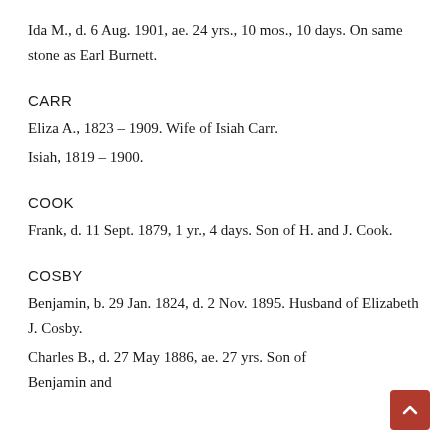Ida M., d. 6 Aug. 1901, ae. 24 yrs., 10 mos., 10 days. On same stone as Earl Burnett.
CARR
Eliza A., 1823 – 1909. Wife of Isiah Carr.
Isiah, 1819 – 1900.
COOK
Frank, d. 11 Sept. 1879, 1 yr., 4 days. Son of H. and J. Cook.
COSBY
Benjamin, b. 29 Jan. 1824, d. 2 Nov. 1895. Husband of Elizabeth J. Cosby.
Charles B., d. 27 May 1886, ae. 27 yrs. Son of Benjamin and